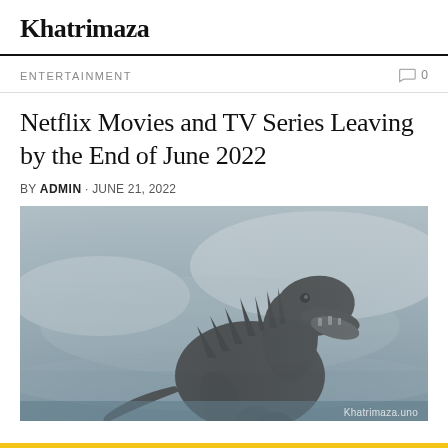Khatrimaza
ENTERTAINMENT · 0
Netflix Movies and TV Series Leaving by the End of June 2022
BY ADMIN · JUNE 21, 2022
[Figure (photo): A large monster (Godzilla) roaring against a misty grey sky background. The image has a bluish-grey foggy atmosphere. Watermark reads Khatrimaza.uno in bottom right corner.]